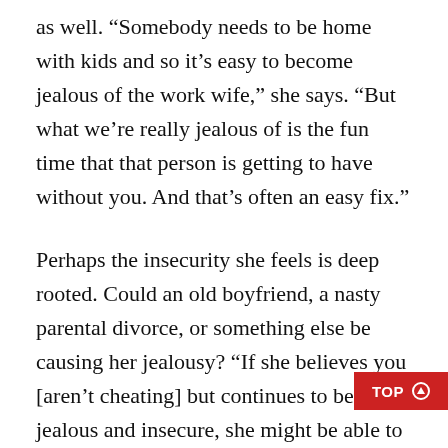as well. “Somebody needs to be home with kids and so it’s easy to become jealous of the work wife,” she says. “But what we’re really jealous of is the fun time that that person is getting to have without you. And that’s often an easy fix.”
Perhaps the insecurity she feels is deep rooted. Could an old boyfriend, a nasty parental divorce, or something else be causing her jealousy? “If she believes you [aren’t cheating] but continues to be jealous and insecure, she might be able to acknowledge the insecurity is within her — not about what you are doing,” says Becker-Phelps. “This self-awareness may allow her to talk with you about her insecurities while also being able to take in reassurance. If this is the case, it can help to support